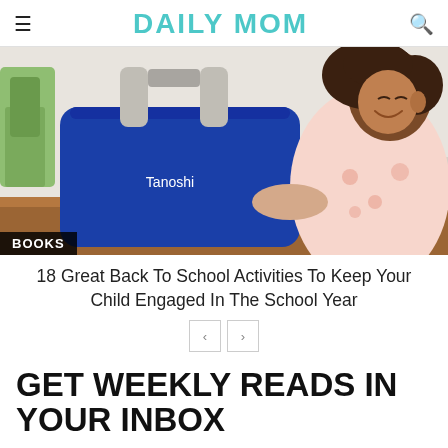DAILY MOM
[Figure (photo): A smiling young girl holding a blue Tanoshi laptop bag by its handles, with a plant visible in the background. The bag has white handles and the word 'Tanoshi' in white text.]
BOOKS
18 Great Back To School Activities To Keep Your Child Engaged In The School Year
GET WEEKLY READS IN YOUR INBOX